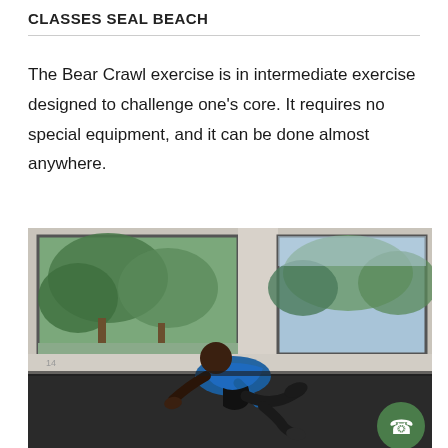CLASSES SEAL BEACH
The Bear Crawl exercise is in intermediate exercise designed to challenge one's core. It requires no special equipment, and it can be done almost anywhere.
[Figure (photo): A man in a blue shirt and black shorts performing the Bear Crawl exercise on a dark mat in a gym or studio with large windows showing trees outside. A green phone button is overlaid in the bottom-right corner.]